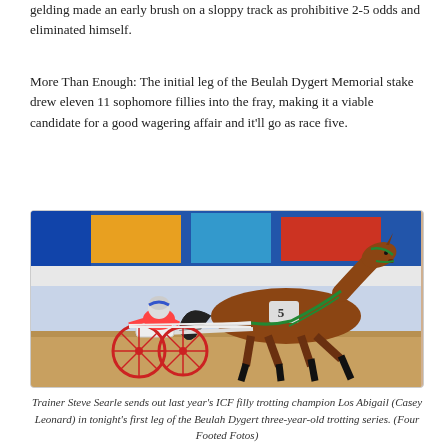gelding made an early brush on a sloppy track as prohibitive 2-5 odds and eliminated himself.
More Than Enough: The initial leg of the Beulah Dygert Memorial stake drew eleven 11 sophomore fillies into the fray, making it a viable candidate for a good wagering affair and it'll go as race five.
[Figure (photo): Harness racing photo showing a jockey in a red and white racing suit driving a sulky pulled by a bay horse with green bridle, on a dirt track with blue banners in the background.]
Trainer Steve Searle sends out last year's ICF filly trotting champion Los Abigail (Casey Leonard) in tonight's first leg of the Beulah Dygert three-year-old trotting series. (Four Footed Fotos)